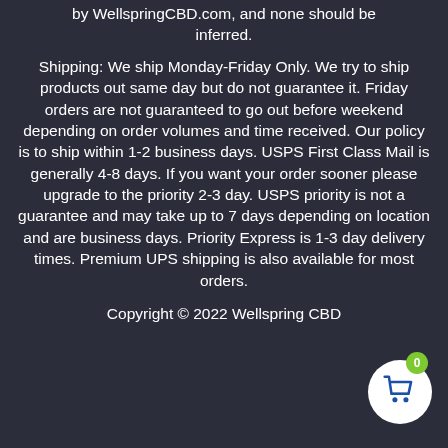by WellspringCBD.com, and none should be inferred.
Shipping: We ship Monday-Friday Only. We try to ship products out same day but do not guarantee it. Friday orders are not guaranteed to go out before weekend depending on order volumes and time received. Our policy is to ship within 1-2 business days. USPS First Class Mail is generally 4-8 days. If you want your order sooner please upgrade to the priority 2-3 day. USPS priority is not a guarantee and may take up to 7 days depending on location and are business days. Priority Express is 1-3 day delivery times. Premium UPS shipping is also available for most orders.
Copyright © 2022 Wellspring CBD